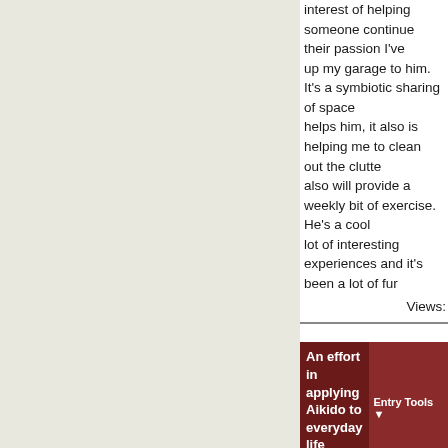interest of helping someone continue their passion I've opened up my garage to him. It's a symbiotic sharing of space that helps him, it also is helping me to clean out the clutter and also will provide a weekly bit of exercise. He's a cool guy with a lot of interesting experiences and it's been a lot of fun so far.
Views:
An effort in applying Aikido to everyday life
In General
Entry Tools
08-21-2014 01:17 AM
After thinking a bit more about the thread with a similar topic, I want to try and organize my thoughts a bit better with regard to running and how I attempt to apply my Aikido training to it. This past weekend I ran as part of a 12-man team from Spokane, WA, to S Overall I didn't do that many of the miles. My longest and the other two were about 4 each for a total of app So a little over a half-marathon spread out over two d The mind tends to wander when I'm running and it's a to see where it goes. I often remember things I've for creative ideas; random things pop up. When trying to of things, I'll often suddenly realize I've drifted into so completely unrelated for awhile. However, the thing w eventually, you get tired and winded and your body h thirsty and perhaps even a bit hungry...no, wait, starv didn't eat much while driving around Spokane suppor runners, for example. The point being that the body